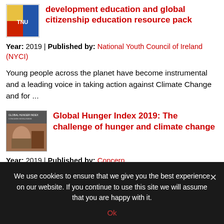development education and global citizenship education resource pack
Year: 2019 | Published by: National Youth Council of Ireland (NYCI)
Young people across the planet have become instrumental and a leading voice in taking action against Climate Change and for ...
Global Hunger Index 2019: The challenge of hunger and climate change
Year: 2019 | Published by: Concern
We use cookies to ensure that we give you the best experience on our website. If you continue to use this site we will assume that you are happy with it.